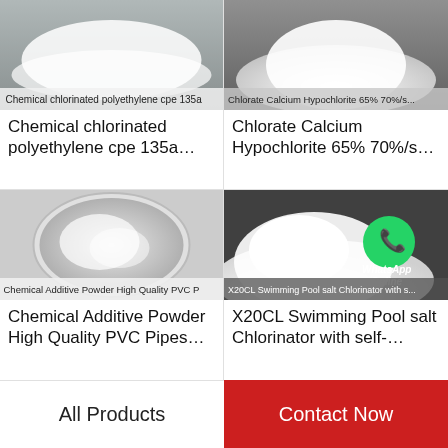[Figure (photo): Product image of chemical chlorinated polyethylene cpe 135a powder with text label at bottom]
Chemical chlorinated polyethylene cpe 135a…
[Figure (photo): Product image of white chemical powder heaped, with text label Chlorate Calcium Hypochlorite 65% 70%/s at bottom]
Chlorate Calcium Hypochlorite 65% 70%/s…
[Figure (photo): White powder in a glass petri dish from above, label reads Chemical Additive Powder High Quality PVC P]
Chemical Additive Powder High Quality PVC Pipes…
[Figure (photo): Heap of white powder on dark background with WhatsApp Online overlay and label X20CL Swimming Pool salt Chlorinator with self-]
X20CL Swimming Pool salt Chlorinator with self-…
All Products
Contact Now